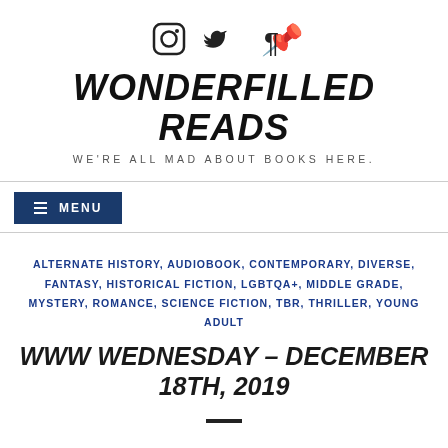[Figure (other): Social media icons: Instagram, Twitter, Pinterest]
WONDERFILLED READS
WE'RE ALL MAD ABOUT BOOKS HERE.
≡ MENU
ALTERNATE HISTORY, AUDIOBOOK, CONTEMPORARY, DIVERSE, FANTASY, HISTORICAL FICTION, LGBTQA+, MIDDLE GRADE, MYSTERY, ROMANCE, SCIENCE FICTION, TBR, THRILLER, YOUNG ADULT
WWW WEDNESDAY – DECEMBER 18TH, 2019